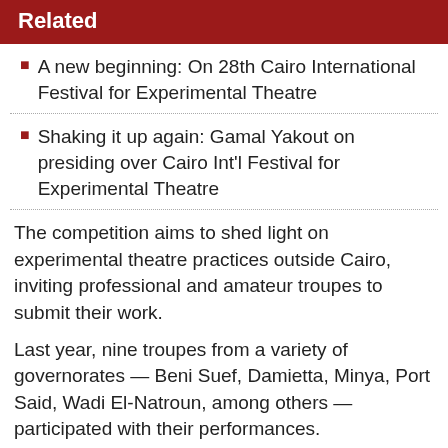Related
A new beginning: On 28th Cairo International Festival for Experimental Theatre
Shaking it up again: Gamal Yakout on presiding over Cairo Int'l Festival for Experimental Theatre
The competition aims to shed light on experimental theatre practices outside Cairo, inviting professional and amateur troupes to submit their work.
Last year, nine troupes from a variety of governorates — Beni Suef, Damietta, Minya, Port Said, Wadi El-Natroun, among others — participated with their performances.
The award worth EGP 30,000 was distributed to two winners — 'The Mask', a play from Port Said; and 'Still Here', by the actors from the Beni Suef Cultural Palace.
Yakout revealed that in the upcoming edition, the prize will be doubled to EGP 60,000